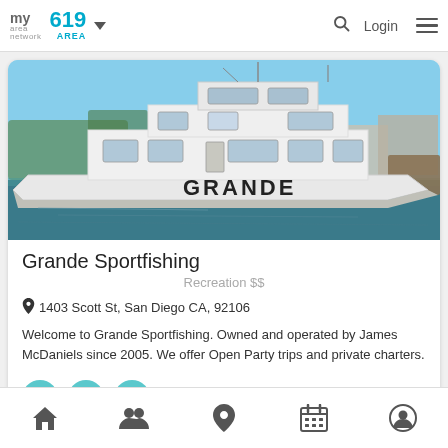my area network | 619 AREA | Login
[Figure (photo): A large white sport fishing boat named GRANDE docked at a marina. Clear blue sky visible in background with trees and dock structures.]
Grande Sportfishing
Recreation $$
1403 Scott St, San Diego CA, 92106
Welcome to Grande Sportfishing. Owned and operated by James McDaniels since 2005. We offer Open Party trips and private charters.
Home | People | Location | Calendar | Profile